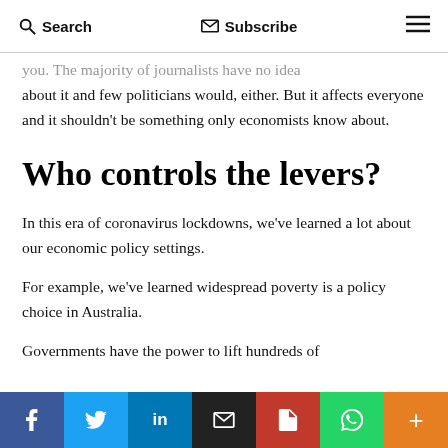Search   Subscribe   ☰
you. The majority of journalists have no idea about it and few politicians would, either. But it affects everyone and it shouldn't be something only economists know about.
Who controls the levers?
In this era of coronavirus lockdowns, we've learned a lot about our economic policy settings.
For example, we've learned widespread poverty is a policy choice in Australia.
Governments have the power to lift hundreds of